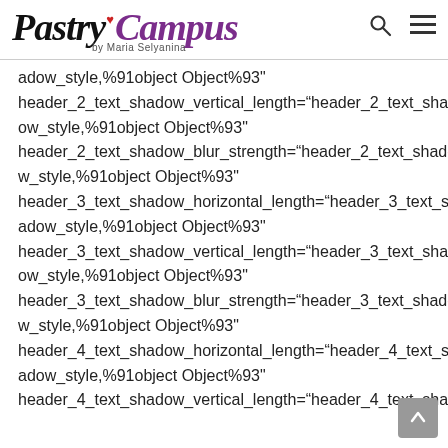Pastry Campus by Maria Selyanina
adow_style,%91object Object%93"
header_2_text_shadow_vertical_length="header_2_text_shadow_style,%91object Object%93"
header_2_text_shadow_blur_strength="header_2_text_shadow_style,%91object Object%93"
header_3_text_shadow_horizontal_length="header_3_text_shadow_style,%91object Object%93"
header_3_text_shadow_vertical_length="header_3_text_shadow_style,%91object Object%93"
header_3_text_shadow_blur_strength="header_3_text_shadow_style,%91object Object%93"
header_4_text_shadow_horizontal_length="header_4_text_shadow_style,%91object Object%93"
header_4_text_shadow_vertical_length="header_4_text_shad